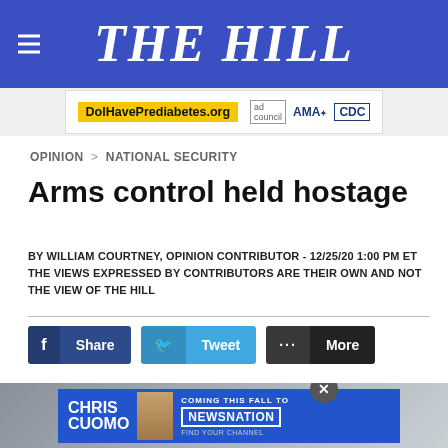THE HILL
[Figure (other): Advertisement banner: DoIHavePrediabetes.org with ad council, AMA, and CDC logos]
OPINION > NATIONAL SECURITY
Arms control held hostage
BY WILLIAM COURTNEY, OPINION CONTRIBUTOR - 12/25/20 1:00 PM ET
THE VIEWS EXPRESSED BY CONTRIBUTORS ARE THEIR OWN AND NOT THE VIEW OF THE HILL
[Figure (other): Social sharing buttons: Facebook Share, Twitter Tweet, More]
[Figure (other): Article image with overlay advertisement for Chris Cuomo coming to NewsNation]